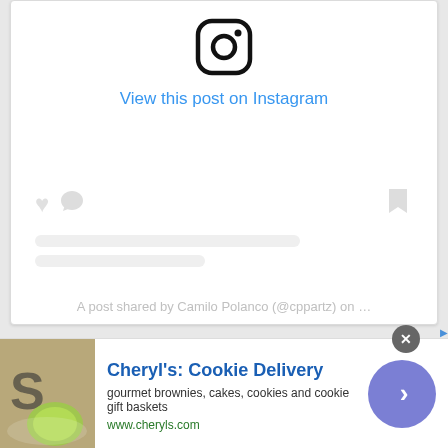[Figure (screenshot): Instagram embed widget showing logo icon, 'View this post on Instagram' link in blue, placeholder loading bars, heart/comment/bookmark icons, and 'A post shared by Camilo Polanco (@cppartz) on ...' text]
[Figure (screenshot): Dark black banner with white text reading 'Join the Movement']
[Figure (screenshot): Advertisement banner for Cheryl's Cookie Delivery with image of cookies, title 'Cheryl's: Cookie Delivery', description 'gourmet brownies, cakes, cookies and cookie gift baskets', URL 'www.cheryls.com', and a blue circle CTA button with arrow]
A post shared by Camilo Polanco (@cppartz) on ...